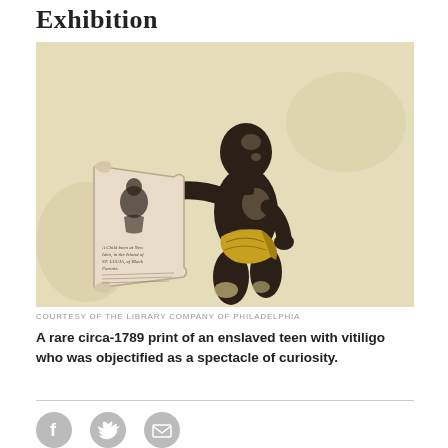Exhibition
[Figure (illustration): A rare circa-1789 print of an enslaved teen with vitiligo holding a scroll, shown against a beige/cream background. Historical engraving-style illustration.]
COURTESY OF THE LIBRARY COMPANY OF PHILADELPHIA
A rare circa-1789 print of an enslaved teen with vitiligo who was objectified as a spectacle of curiosity.